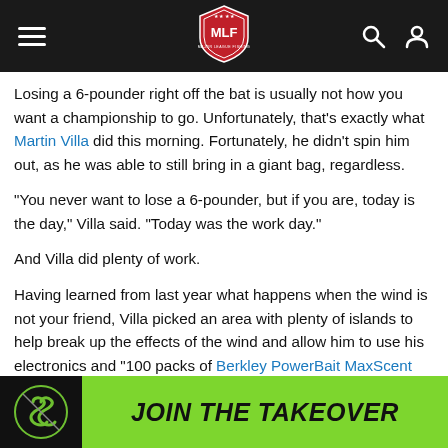MLF Major League Fishing (logo, hamburger menu, search, profile icons)
Losing a 6-pounder right off the bat is usually not how you want a championship to go. Unfortunately, that's exactly what Martin Villa did this morning. Fortunately, he didn't spin him out, as he was able to still bring in a giant bag, regardless.
“You never want to lose a 6-pounder, but if you are, today is the day,” Villa said. “Today was the work day.”
And Villa did plenty of work.
Having learned from last year what happens when the wind is not your friend, Villa picked an area with plenty of islands to help break up the effects of the wind and allow him to use his electronics and “100 packs of Berkley PowerBait MaxScent Flat Worms” to seek out individual fish. And he knows there’s plenty there, as he caught a 26-pound bag there in practice
[Figure (logo): JOIN THE TAKEOVER advertisement banner with green background and circular logo icon on black background]